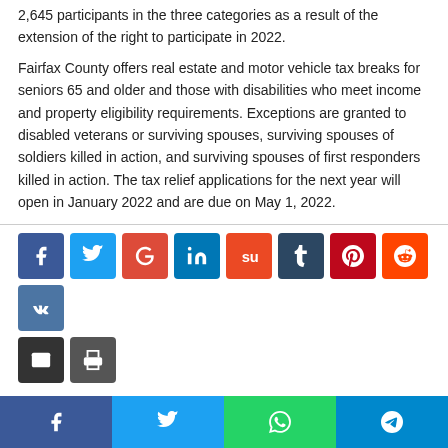2,645 participants in the three categories as a result of the extension of the right to participate in 2022.
Fairfax County offers real estate and motor vehicle tax breaks for seniors 65 and older and those with disabilities who meet income and property eligibility requirements. Exceptions are granted to disabled veterans or surviving spouses, surviving spouses of soldiers killed in action, and surviving spouses of first responders killed in action. The tax relief applications for the next year will open in January 2022 and are due on May 1, 2022.
[Figure (other): Social media share buttons: Facebook, Twitter, Google, LinkedIn, StumbleUpon, Tumblr, Pinterest, Reddit, VK, Email, Print]
[Figure (other): Bottom social share bar with Facebook, Twitter, WhatsApp, and Telegram buttons]